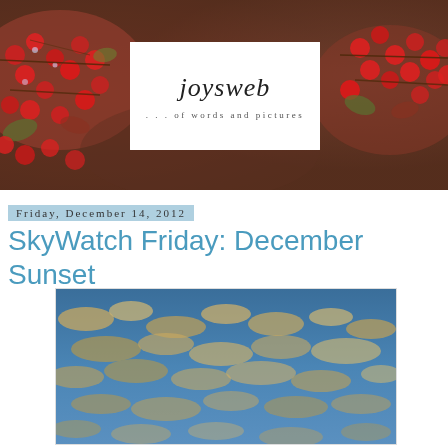[Figure (photo): Blog header banner: close-up photo of red winter berries on branches with bokeh background, with centered white logo box reading 'joysweb ... of words and pictures']
Friday, December 14, 2012
SkyWatch Friday: December Sunset
[Figure (photo): Photograph of a blue sky with scattered golden-lit clouds, taken at sunset in December]